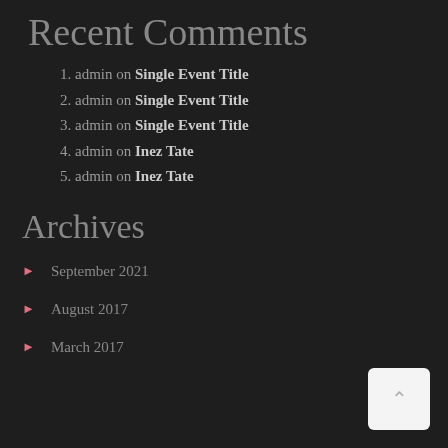Recent Comments
1. admin on Single Event Title
2. admin on Single Event Title
3. admin on Single Event Title
4. admin on Inez Tate
5. admin on Inez Tate
Archives
September 2021
August 2017
March 2017